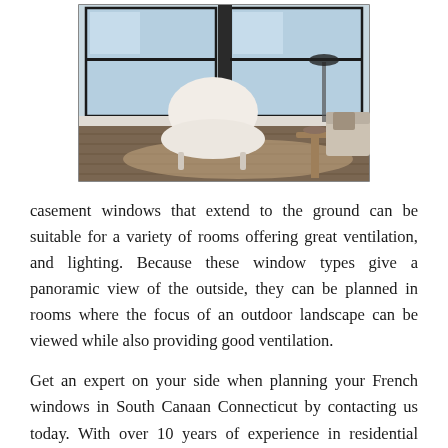[Figure (photo): Interior room photo showing a modern living room with white/cream armchair, large casement windows with dark frames letting in natural light, hardwood floors, and a side table. The room has a bright, airy aesthetic.]
casement windows that extend to the ground can be suitable for a variety of rooms offering great ventilation, and lighting. Because these window types give a panoramic view of the outside, they can be planned in rooms where the focus of an outdoor landscape can be viewed while also providing good ventilation.
Get an expert on your side when planning your French windows in South Canaan Connecticut by contacting us today. With over 10 years of experience in residential replacements, we can show you a variety of